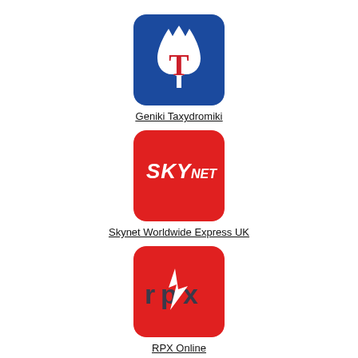[Figure (logo): Geniki Taxydromiki logo: blue rounded square with white liquid-drop shape and red T letter]
Geniki Taxydromiki
[Figure (logo): Skynet Worldwide Express UK logo: red rounded square with white SKYNET text in bold italic]
Skynet Worldwide Express UK
[Figure (logo): RPX Online logo: red rounded square with dark grey stylized rpx letters and white lightning bolt arrow]
RPX Online